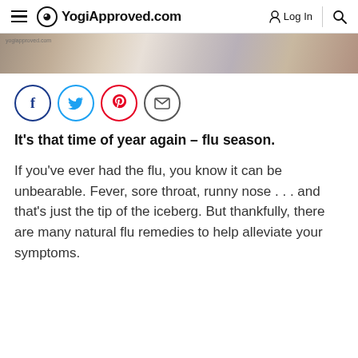YogiApproved.com — Log In
[Figure (screenshot): Hero image strip showing cozy wellness items including blankets, cups, and a vase in warm neutral tones]
[Figure (infographic): Social sharing icons: Facebook (blue circle), Twitter (light blue circle), Pinterest (red circle), Email (grey circle)]
It’s that time of year again – flu season.
If you’ve ever had the flu, you know it can be unbearable. Fever, sore throat, runny nose . . . and that’s just the tip of the iceberg. But thankfully, there are many natural flu remedies to help alleviate your symptoms.